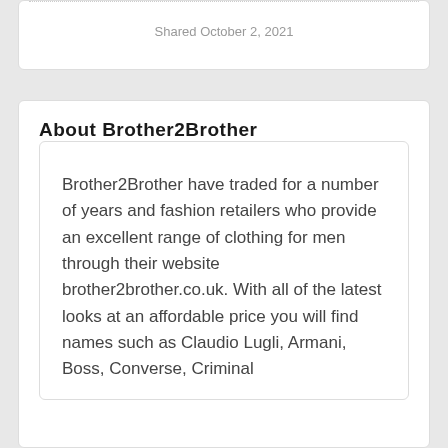Shared October 2, 2021
About Brother2Brother
Brother2Brother have traded for a number of years and fashion retailers who provide an excellent range of clothing for men through their website brother2brother.co.uk. With all of the latest looks at an affordable price you will find names such as Claudio Lugli, Armani, Boss, Converse, Criminal